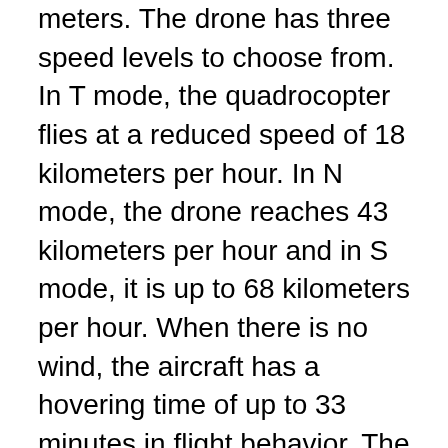meters. The drone has three speed levels to choose from. In T mode, the quadrocopter flies at a reduced speed of 18 kilometers per hour. In N mode, the drone reaches 43 kilometers per hour and in S mode, it is up to 68 kilometers per hour. When there is no wind, the aircraft has a hovering time of up to 33 minutes in flight behavior. The 3,500 mAh battery achieves a flight time of up to 34 minutes. The drone can withstand wind resistance of 29 to 38 kilometers per hour.
To control it, the DJI Mavic Air 2 comes with a controller that you can insert a smartphone into. The quadrocopter takes photos and videos with a 48-megapixel camera that works with a 1/2-inch image sensor and a field of view of 84 degrees. This enables the